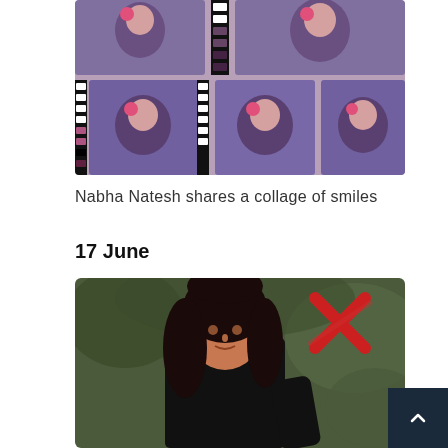[Figure (photo): Collage of photos showing Nabha Natesh smiling, wearing a purple outfit with a pink flower in her hair, arranged in a film strip style grid]
Nabha Natesh shares a collage of smiles
17 June
[Figure (photo): Photo of a young woman with long dark hair wearing a black top, standing outdoors with greenery in the background, with a red X logo watermark in the upper right corner]